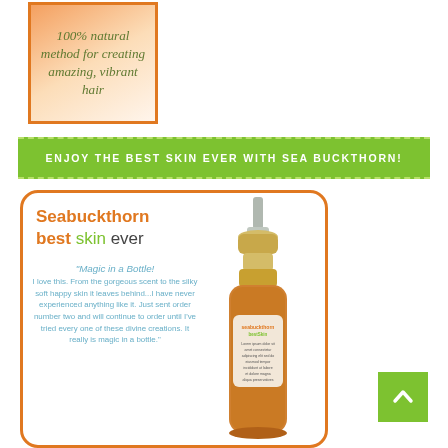[Figure (illustration): Peach-orange gradient box with orange border containing italic green text: '100% natural method for creating amazing, vibrant hair']
ENJOY THE BEST SKIN EVER WITH SEA BUCKTHORN!
[Figure (illustration): Orange-bordered rounded card with 'Seabuckthorn best skin ever' heading and a customer testimonial quote 'Magic in a Bottle! I love this. From the gorgeous scent to the silky soft happy skin it leaves behind...I have never experienced anything like it. Just sent order number two and will continue to order until I've tried every one of these divine creations. It really is magic in a bottle.' alongside a product bottle image.]